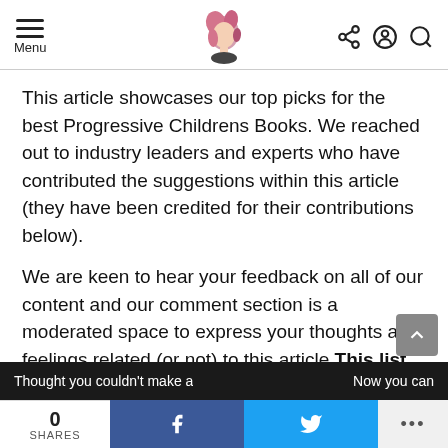Menu [logo] [share] [account] [search]
This article showcases our top picks for the best Progressive Childrens Books. We reached out to industry leaders and experts who have contributed the suggestions within this article (they have been credited for their contributions below).
We are keen to hear your feedback on all of our content and our comment section is a moderated space to express your thoughts and feelings related (or not) to this article This list is in no particular order.
0 SHARES | f | Twitter bird | ...